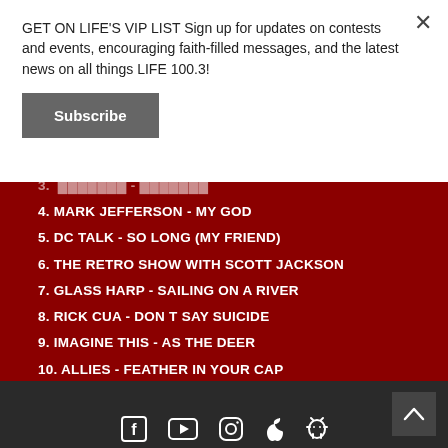GET ON LIFE'S VIP LIST Sign up for updates on contests and events, encouraging faith-filled messages, and the latest news on all things LIFE 100.3!
Subscribe
4. MARK JEFFERSON - MY GOD
5. DC TALK - SO LONG (MY FRIEND)
6. THE RETRO SHOW WITH SCOTT JACKSON
7. GLASS HARP - SAILING ON A RIVER
8. RICK CUA - DON T SAY SUICIDE
9. IMAGINE THIS - AS THE DEER
10. ALLIES - FEATHER IN YOUR CAP
[Figure (other): Social media icons: Facebook, YouTube, Instagram, Apple, Android]